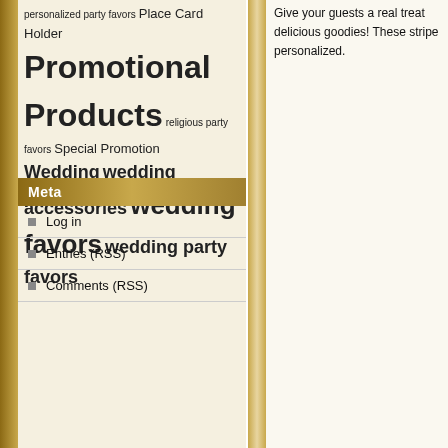personalized party favors Place Card Holder Promotional Products religious party favors Special Promotion Wedding wedding accessories wedding favors wedding party favors
Meta
Log in
Entries (RSS)
Comments (RSS)
Give your guests a real treat delicious goodies! These stripe personalized.